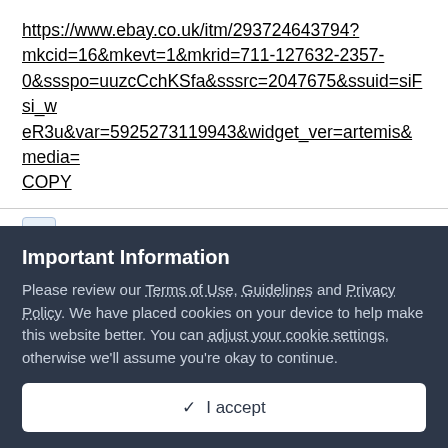https://www.ebay.co.uk/itm/293724643794?mkcid=16&mkevt=1&mkrid=711-127632-2357-0&ssspo=uuzcCchKSfa&sssrc=2047675&ssuid=siFsi_weR3u&var=5925273119943&widget_ver=artemis&media=COPY
+ Quote
Important Information
Please review our Terms of Use, Guidelines and Privacy Policy. We have placed cookies on your device to help make this website better. You can adjust your cookie settings, otherwise we'll assume you're okay to continue.
✓ I accept